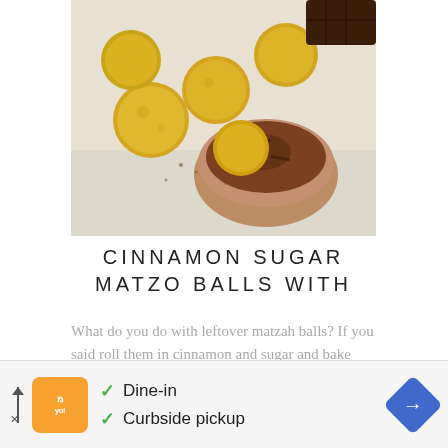[Figure (photo): Close-up photo of cinnamon sugar matzo balls next to a bowl of chocolate dipping sauce on a white surface]
CINNAMON SUGAR MATZO BALLS WITH
What do you do with leftover matzah balls? If you said roll them in cinnamon and sugar and bake them ...
[Figure (photo): Photo of a tart or cake topped with fresh raspberries and sliced almonds on a wooden surface]
✓ Dine-in  ✓ Curbside pickup